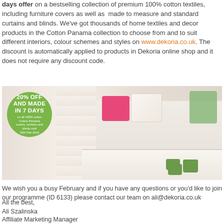days offer on a bestselling collection of premium 100% cotton textiles, including furniture covers as well as made to measure and standard curtains and blinds. We've got thousands of home textiles and decor products in the Cotton Panama collection to choose from and to suit different interiors, colour schemes and styles on www.dekoria.co.uk. The discount is automatically applied to products in Dekoria online shop and it does not require any discount code.
[Figure (photo): Promotional banner for Dekoria Cotton Panama collection showing a living room scene with floral curtains, pink and green cushions, green mugs on a coffee table, and a vase of flowers. A green circle overlay reads '20% OFF AND MADE IN 7 DAYS on all 100% cotton Cotton Panama covers, curtains and blinds until 15th Feb 2016'.]
We wish you a busy February and if you have any questions or you'd like to join our programme (ID 6133) please contact our team on ali@dekoria.co.uk
All the best,
Ali Szalinska
Affiliate Marketing Manager